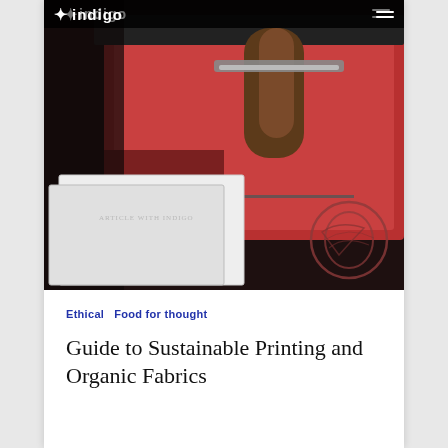indigo
[Figure (photo): Screen printing workshop: a person's arm holding a squeegee over a red screen printing press, with white printed boxes visible in the foreground showing a circular logo print.]
Ethical   Food for thought
Guide to Sustainable Printing and Organic Fabrics